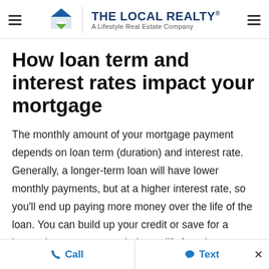The Local Realty® — A Lifestyle Real Estate Company
How loan term and interest rates impact your mortgage
The monthly amount of your mortgage payment depends on loan term (duration) and interest rate. Generally, a longer-term loan will have lower monthly payments, but at a higher interest rate, so you'll end up paying more money over the life of the loan. You can build up your credit or save for a larger down payment to help qualify for a lower interest rate. A lender can also help determine your mortgage affordability, and present the best
Call   Text